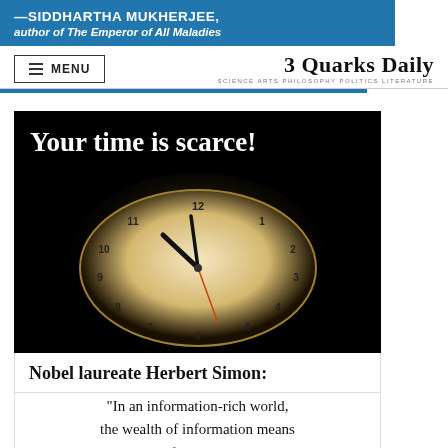—SIDDHARTHA MUKHERJEE, author of The Emperor of All Maladies
MENU | 3 Quarks Daily | SCIENCE ARTS PHILOSOPHY POLITICS LITERATURE
[Figure (photo): Black background with large white bold text 'Your time is scarce!' at top left, and a glowing clock face photographed from an angle in the lower center, showing approximately 11:58 time.]
Nobel laureate Herbert Simon:
“In an information-rich world, the wealth of information means a dearth of something else: a scarcity of what consumes it that...